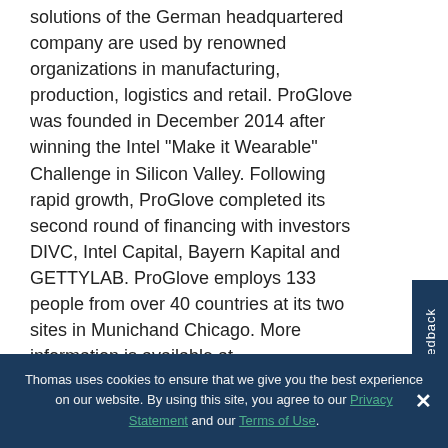solutions of the German headquartered company are used by renowned organizations in manufacturing, production, logistics and retail. ProGlove was founded in December 2014 after winning the Intel "Make it Wearable" Challenge in Silicon Valley. Following rapid growth, ProGlove completed its second round of financing with investors DIVC, Intel Capital, Bayern Kapital and GETTYLAB. ProGlove employs 133 people from over 40 countries at its two sites in Munichand Chicago. More information is available at www.proglove.com.
Media Contacts
Bear Icebox Communications
Thomas uses cookies to ensure that we give you the best experience on our website. By using this site, you agree to our Privacy Statement and our Terms of Use.